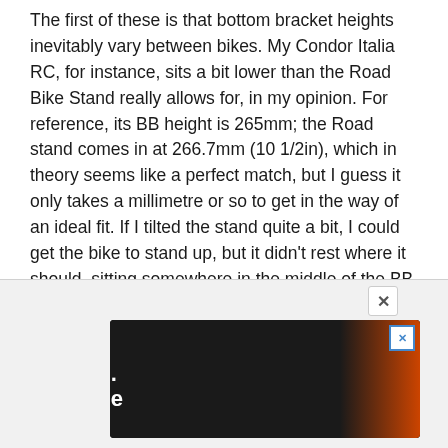The first of these is that bottom bracket heights inevitably vary between bikes. My Condor Italia RC, for instance, sits a bit lower than the Road Bike Stand really allows for, in my opinion. For reference, its BB height is 265mm; the Road stand comes in at 266.7mm (10 1/2in), which in theory seems like a perfect match, but I guess it only takes a millimetre or so to get in the way of an ideal fit. If I tilted the stand quite a bit, I could get the bike to stand up, but it didn't rest where it should, sitting somewhere in the middle of the BB shell. If it was a particularly windy day, I'd be worried about it falling over.
[Figure (screenshot): Advertisement overlay with close button (X) and a cycling ad showing 'Ride More. Enjoy More' with a red bike light and orange handlebar lamp image on dark background.]